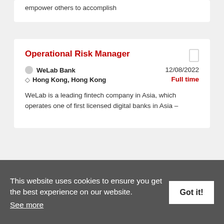empower others to accomplish
Operational Risk Manager
WeLab Bank
Hong Kong, Hong Kong
12/08/2022
Full time
WeLab is a leading fintech company in Asia, which operates one of first licensed digital banks in Asia –
Head of Desk – Hong Kong
This website uses cookies to ensure you get the best experience on our website.
See more
Got it!